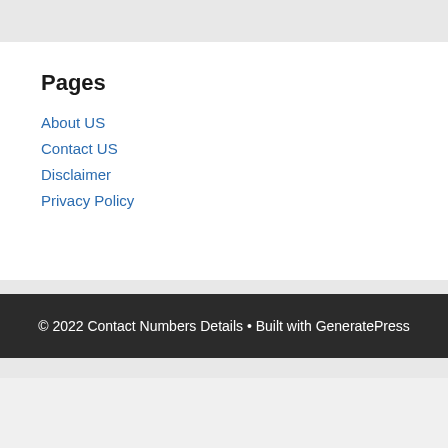Pages
About US
Contact US
Disclaimer
Privacy Policy
© 2022 Contact Numbers Details • Built with GeneratePress